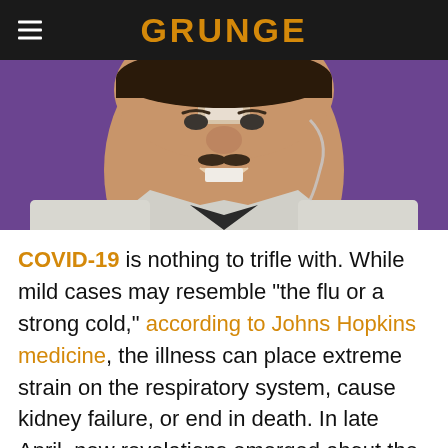GRUNGE
[Figure (photo): Close-up photo of a man smiling with a medical bandage/tape on his nose, wearing a white jacket, against a purple background]
COVID-19 is nothing to trifle with. While mild cases may resemble "the flu or a strong cold," according to Johns Hopkins medicine, the illness can place extreme strain on the respiratory system, cause kidney failure, or end in death. In late April, new revelations emerged about the harm COVID-19 is capable of. France 24 reports that doctors have observed a surge in blood clots, heart attacks, and strokes in young people. Blood clotting caused by COVID-19 has forced physicians to amputate